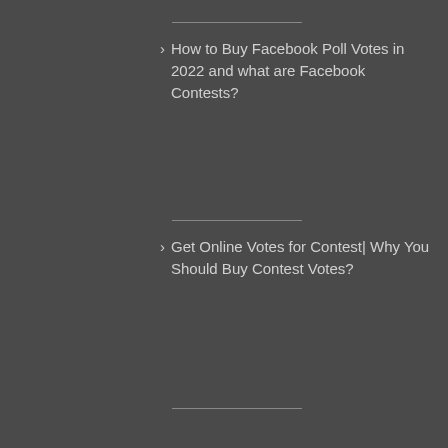How to Buy Facebook Poll Votes in 2022 and what are Facebook Contests?
Get Online Votes for Contest| Why You Should Buy Contest Votes?